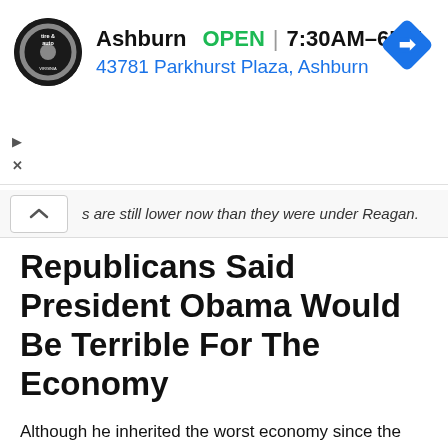[Figure (screenshot): Advertisement banner for a tire and auto shop in Ashburn showing logo, OPEN status, hours 7:30AM-6PM, address 43781 Parkhurst Plaza Ashburn, and a blue navigation diamond icon]
s are still lower now than they were under Reagan.
Republicans Said President Obama Would Be Terrible For The Economy
Although he inherited the worst economy since the Great Depression, President Obama presided over the longest continuous period of uninterrupted job growth in American history. More jobs were created under President Obama than under both Bush Presidents combined. The stock market repeatedly set new records during Obama's presidency.